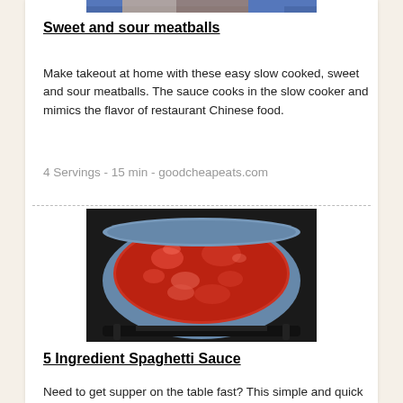[Figure (photo): Top portion of a food photo, partially cropped at the top of the page]
Sweet and sour meatballs
Make takeout at home with these easy slow cooked, sweet and sour meatballs. The sauce cooks in the slow cooker and mimics the flavor of restaurant Chinese food.
4 Servings - 15 min - goodcheapeats.com
[Figure (photo): A pot of red tomato sauce cooking on a stove, viewed from above]
5 Ingredient Spaghetti Sauce
Need to get supper on the table fast? This simple and quick spaghetti sauce recipe uses just 4 -5 ingredients and your